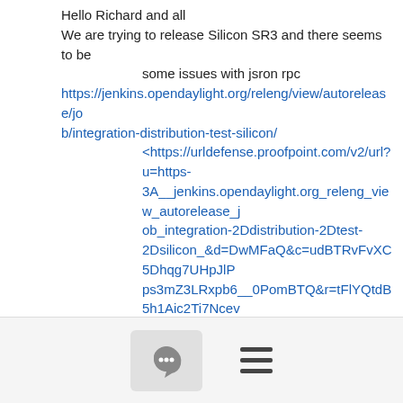Hello Richard and all
We are trying to release Silicon SR3 and there seems to be
        some issues with jsron rpc
https://jenkins.opendaylight.org/releng/view/autorelease/job/integration-distribution-test-silicon/
        <https://urldefense.proofpoint.com/v2/url?u=https-3A__jenkins.opendaylight.org_releng_view_autorelease_job_integration-2Ddistribution-2Dtest-2Dsilicon_&d=DwMFaQ&c=udBTRvFvXC5Dhqg7UHpJlPps3mZ3LRxpb6__0PomBTQ&r=tFlYQtdB5h1Aic2Ti7Ncev9qFTcOZoMgJ6CVN_sDUdU&m=HiV4HBLZ5x9YrrnXK4ow9o-lOZLknuU0vEI5pfdbN1k&s=LelZOTmhWEMkR_C0NUEZ0RvTFSNnWuiUsdftPOERE2c&e=>
https://jenkins.opendaylight.org/releng/view/autorelease/job/jsonrpc-csit-1node-basic-only-silicon/
        <https://urldefense.proofpoint.com/v2/url?u=https-3A__jenkins.opendaylight.org_releng_view_autorelease_j
[Figure (other): Bottom toolbar with chat bubble icon in a gray box and a hamburger menu icon]